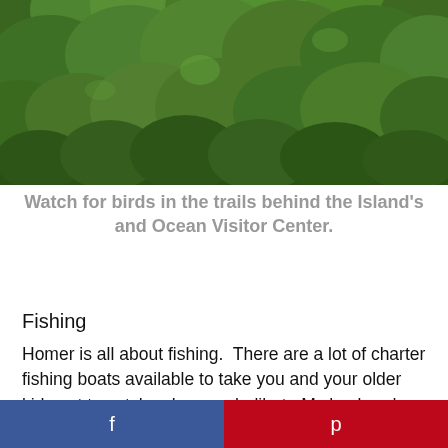[Figure (photo): Dense green foliage and trees, outdoor nature scene with lush vegetation]
Watch for birds in the trails behind the Island's and Ocean Visitor Center.
Fishing
Homer is all about fishing.  There are a lot of charter fishing boats available to take you and your older kids out to catch salmon or halibut.  My husband and some friends took two different half day charters, and were successful catching fish.  The youngest kid along for the trip was an eighth grader and he had an absolute blast.  I would recommend reservations well in advance, but you may have luck walking the docks in the early